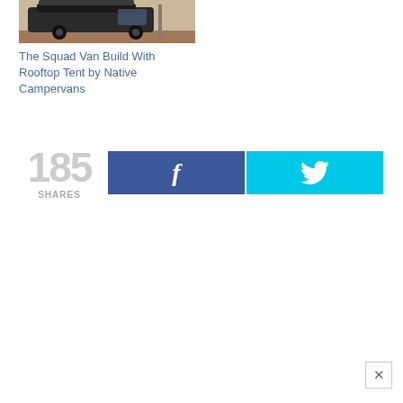[Figure (photo): A dark SUV/van with a rooftop tent attachment parked on sandy/dusty ground, viewed from the front-left angle.]
The Squad Van Build With Rooftop Tent by Native Campervans
185 SHARES
[Figure (other): Facebook share button (dark blue with 'f' icon)]
[Figure (other): Twitter share button (cyan/light blue with bird icon)]